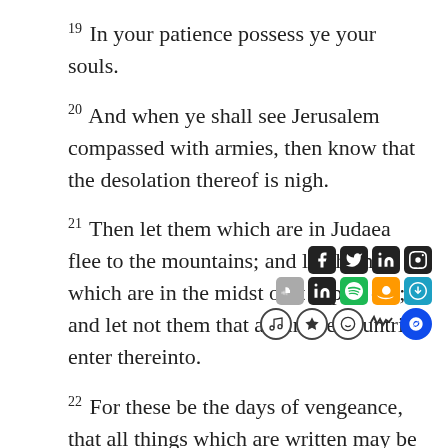19 In your patience possess ye your souls.
20 And when ye shall see Jerusalem compassed with armies, then know that the desolation thereof is nigh.
21 Then let them which are in Judaea flee to the mountains; and let them which are in the midst of it depart out; and let not them that are in the countries enter thereinto.
22 For these be the days of vengeance, that all things which are written may be fulfilled.